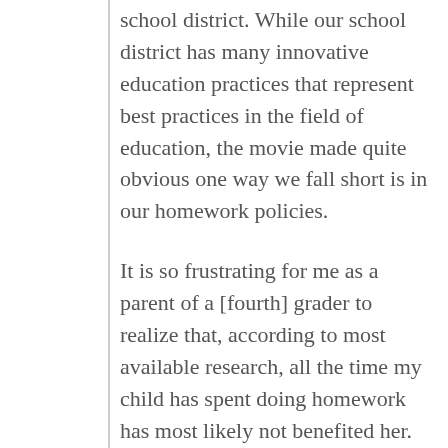school district. While our school district has many innovative education practices that represent best practices in the field of education, the movie made quite obvious one way we fall short is in our homework policies.
It is so frustrating for me as a parent of a [fourth] grader to realize that, according to most available research, all the time my child has spent doing homework has most likely not benefited her. This seems like a tragic waste of her time, her teacher’s time and our family time. After seeing the film, I looked at some of the